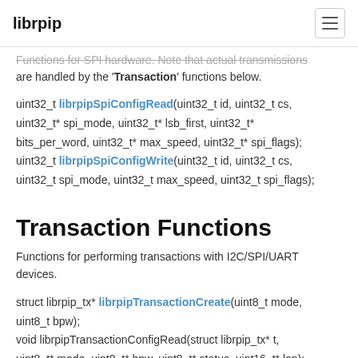librpip
Functions for SPI hardware. Note that actual transmissions are handled by the 'Transaction' functions below.
uint32_t librpipSpiConfigRead(uint32_t id, uint32_t cs, uint32_t* spi_mode, uint32_t* lsb_first, uint32_t* bits_per_word, uint32_t* max_speed, uint32_t* spi_flags); uint32_t librpipSpiConfigWrite(uint32_t id, uint32_t cs, uint32_t spi_mode, uint32_t max_speed, uint32_t spi_flags);
Transaction Functions
Functions for performing transactions with I2C/SPI/UART devices.
struct librpip_tx* librpipTransactionCreate(uint8_t mode, uint8_t bpw); void librpipTransactionConfigRead(struct librpip_tx* t, uint8_t* mode, uint8_t* bpw, uint8_t* status, uint16_t* len);